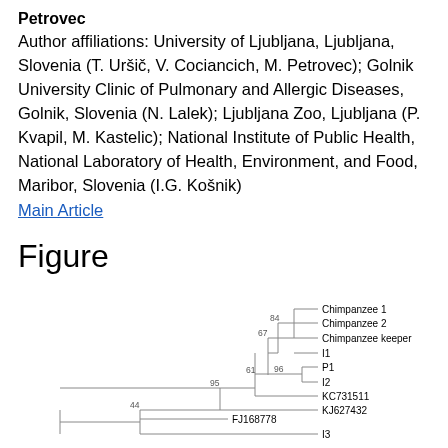Petrovec
Author affiliations: University of Ljubljana, Ljubljana, Slovenia (T. Uršič, V. Cociancich, M. Petrovec); Golnik University Clinic of Pulmonary and Allergic Diseases, Golnik, Slovenia (N. Lalek); Ljubljana Zoo, Ljubljana (P. Kvapil, M. Kastelic); National Institute of Public Health, National Laboratory of Health, Environment, and Food, Maribor, Slovenia (I.G. Košnik)
Main Article
Figure
[Figure (other): Phylogenetic tree showing relationships between Chimpanzee 1, Chimpanzee 2, Chimpanzee keeper, I1, P1, I2, KC731511, KJ627432, FJ168778, I3 with bootstrap values 84, 67, 96, 61, 95, 44]